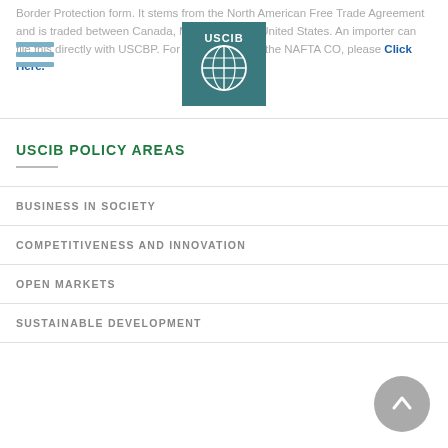[Figure (logo): USCIB logo — teal square with globe grid and USCIB text in white]
Border Protection form. It stems from the North American Free Trade Agreement and is traded between Canada, Mexico and the United States. An importer can file this directly with USCBP. For more details on the NAFTA CO, please Click Here.
USCIB POLICY AREAS
BUSINESS IN SOCIETY
COMPETITIVENESS AND INNOVATION
OPEN MARKETS
SUSTAINABLE DEVELOPMENT